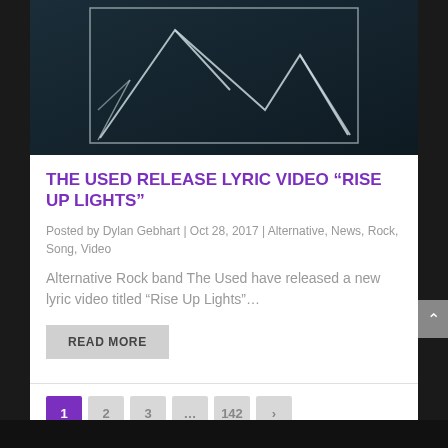[Figure (illustration): Dark teal/navy background with white geometric mountain/triangle line art shapes drawn on what appears to be a chalkboard or dark surface, framed with a white border rectangle]
THE USED RELEASE LYRIC VIDEO “RISE UP LIGHTS”
Posted by Dylan Gebhart | Oct 28, 2017 | Alternative, News, Rock, Song, Video
Alternative Rock band The Used have released a new lyric video titled “Rise Up Lights”…
READ MORE
1  2  3  …  142  >